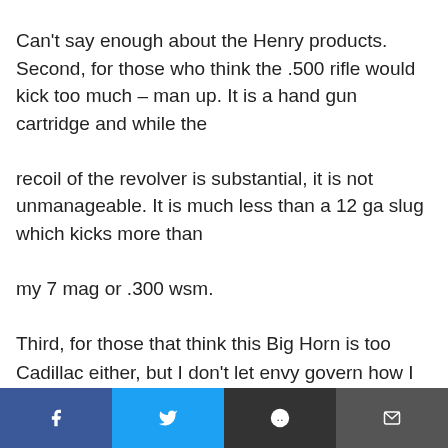Can't say enough about the Henry products. Second, for those who think the .500 rifle would kick too much – man up. It is a hand gun cartridge and while the recoil of the revolver is substantial, it is not unmanageable. It is much less than a 12 ga slug which kicks more than my 7 mag or .300 wsm. Third, for those that think this Big Horn is too expensive, just don't buy one. Why denigrate someone who can afford it and wants one? They are too expensive for me, but more power to anyone that buys one. I don't own a Cadillac either, but I don't let envy govern how I
[Figure (other): Social share bar with Facebook, Twitter, Reddit, and email buttons]